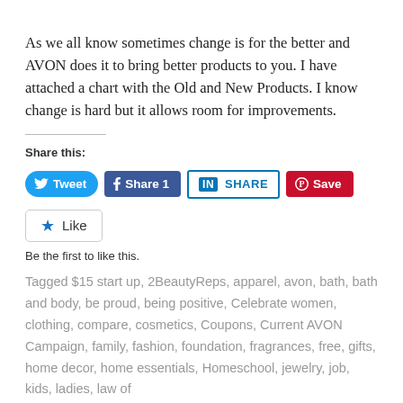As we all know sometimes change is for the better and AVON does it to bring better products to you. I have attached a chart with the Old and New Products. I know change is hard but it allows room for improvements.
Share this:
[Figure (other): Social share buttons: Tweet (Twitter), Share 1 (Facebook), SHARE (LinkedIn), Save (Pinterest)]
[Figure (other): Like button widget]
Be the first to like this.
Tagged $15 start up, 2BeautyReps, apparel, avon, bath, bath and body, be proud, being positive, Celebrate women, clothing, compare, cosmetics, Coupons, Current AVON Campaign, family, fashion, foundation, fragrances, free, gifts, home decor, home essentials, Homeschool, jewelry, job, kids, ladies, law of